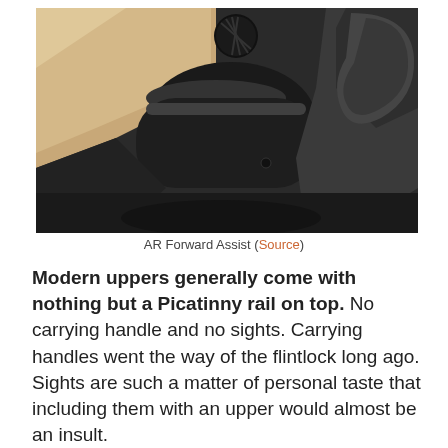[Figure (photo): Close-up photograph of an AR-style rifle forward assist mechanism. The image shows black metal components including a cylindrical bolt carrier and a serrated forward assist button, alongside a tan/FDE colored polymer handguard or lower receiver.]
AR Forward Assist (Source)
Modern uppers generally come with nothing but a Picatinny rail on top. No carrying handle and no sights. Carrying handles went the way of the flintlock long ago. Sights are such a matter of personal taste that including them with an upper would almost be an insult.